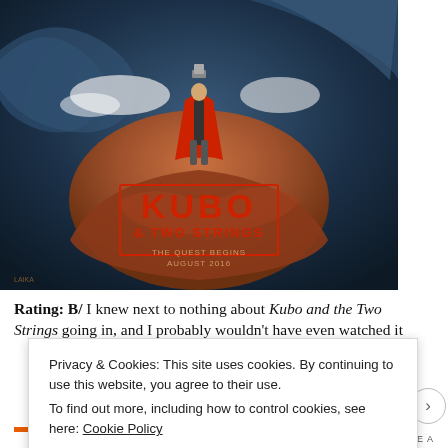[Figure (photo): Movie poster for 'Kubo and the Two Strings' showing a figure standing on a large creature amid stormy ocean waves, with the title in large red letters and text 'The Quest Begins August 2016']
Rating: B/  I knew next to nothing about Kubo and the Two Strings going in, and I probably wouldn't have even watched it
Privacy & Cookies: This site uses cookies. By continuing to use this website, you agree to their use.
To find out more, including how to control cookies, see here: Cookie Policy
Close and accept